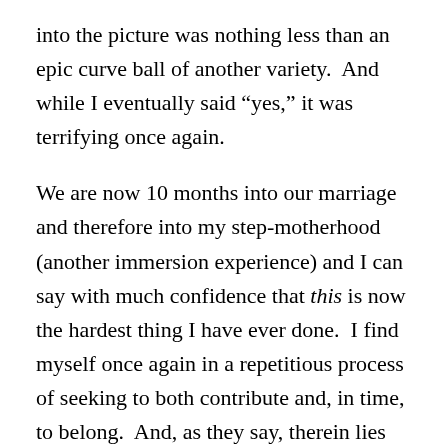into the picture was nothing less than an epic curve ball of another variety.  And while I eventually said “yes,” it was terrifying once again.
We are now 10 months into our marriage and therefore into my step-motherhood (another immersion experience) and I can say with much confidence that this is now the hardest thing I have ever done.  I find myself once again in a repetitious process of seeking to both contribute and, in time, to belong.  And, as they say, therein lies the rub…in time.
After those 9 years of life in Gasamalla I can look back and remember that those first few months were hard, but I have to work to remember how it was hard and